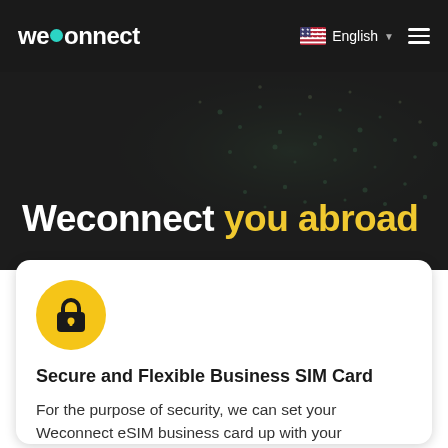weconnect — English (navigation bar)
[Figure (screenshot): Weconnect website hero section with headline 'Weconnect you abroad' on dark background with abstract dot/network pattern]
Weconnect you abroad
[Figure (illustration): Yellow circle with black padlock icon]
Secure and Flexible Business SIM Card
For the purpose of security, we can set your Weconnect eSIM business card up with your